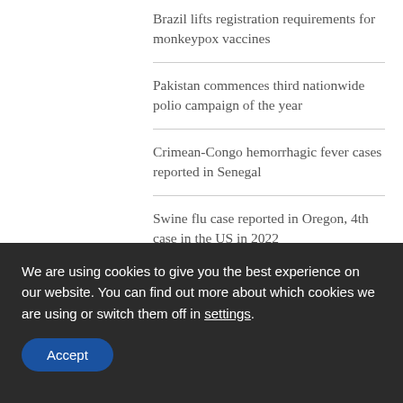Brazil lifts registration requirements for monkeypox vaccines
Pakistan commences third nationwide polio campaign of the year
Crimean-Congo hemorrhagic fever cases reported in Senegal
Swine flu case reported in Oregon, 4th case in the US in 2022
Oregon reports first pediatric monkeypox case
Taiwan reports 1st local transmission of dengue
Acinetobacter baumannii use thin stretchy fibers to attach
We are using cookies to give you the best experience on our website. You can find out more about which cookies we are using or switch them off in settings.